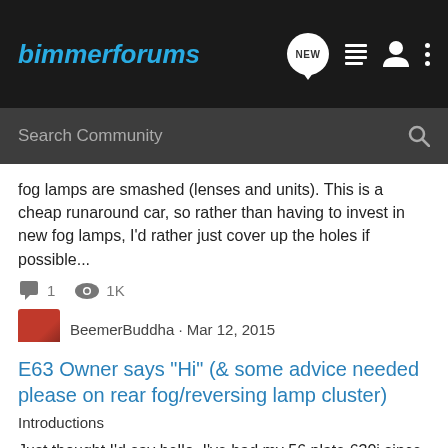Bimmer Forums
fog lamps are smashed (lenses and units). This is a cheap runaround car, so rather than having to invest in new fog lamps, I'd rather just cover up the holes if possible...
1  1K
BeemerBuddha · Mar 12, 2015
blanking  covers  exist  fog  lamp
E63 Owner says "Hi" (& some advice needed please on rear fog/reversing lamp cluster)
Introductions
Just thought I'd say hello. I've had my 56 plate 630i since new. (Its my wife's actually, so I don't drive it much, but I really enjoy it when I do.) Its really easy to live with and still